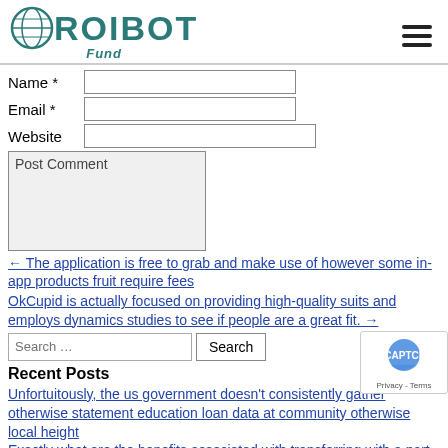[Figure (logo): ROIBOT Fund logo with teal/green text and globe icon]
Name *
Email *
Website
Post Comment
← The application is free to grab and make use of however some in-app products fruit require fees
OkCupid is actually focused on providing high-quality suits and employs dynamics studies to see if people are a great fit. →
Search …
Recent Posts
Unfortuitously, the us government doesn't consistently gather otherwise statement education loan data at community otherwise local height
Exactly what are the benefits associated with transferring with a part degree?
Eu management concur even more Russia sanctions, but save certain to possess after
You can even pertain now let's talk about a personal lo…
Faqs Into the Payday loans & Urgent Loans Getting Less than perfect credit